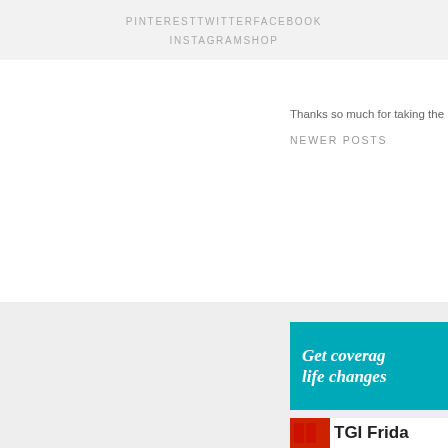PINTEREST   TWITTER   FACEBOOK   INSTAGRAM   SHOP
Thanks so much for taking the
NEWER POSTS
[Figure (infographic): Teal advertisement banner with italic bold white text reading 'Get coverag... life changes...']
[Figure (infographic): White banner with bold text 'TGI Frida...' and red logo marks]